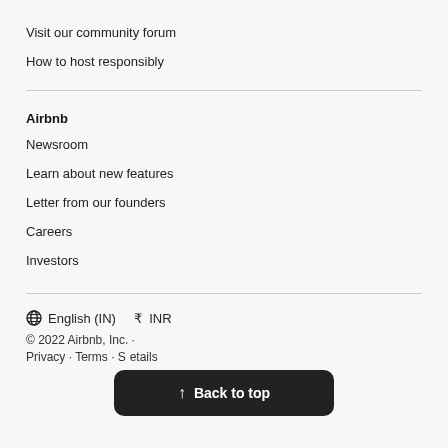Visit our community forum
How to host responsibly
Airbnb
Newsroom
Learn about new features
Letter from our founders
Careers
Investors
⊕ English (IN)   ₹ INR
© 2022 Airbnb, Inc. · Privacy · Terms · S...etails
↑ Back to top